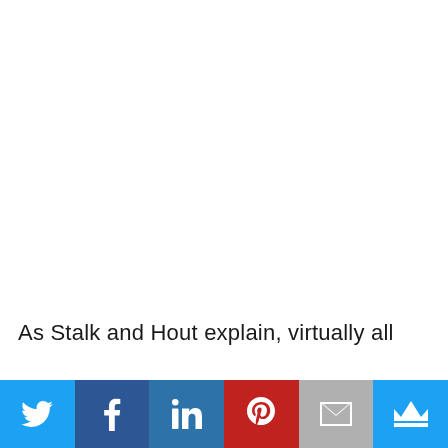As Stalk and Hout explain, virtually all
[Figure (infographic): Social media sharing bar with six icons: Twitter (light blue), Facebook (dark blue), LinkedIn (medium blue), Pinterest (red), Email (grey), Crown/Bookmark (light blue)]